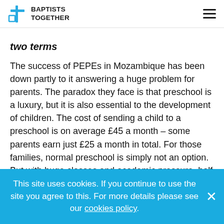BAPTISTS TOGETHER
two terms
The success of PEPEs in Mozambique has been down partly to it answering a huge problem for parents. The paradox they face is that preschool is a luxury, but it is also essential to the development of children. The cost of sending a child to a preschool is on average £45 a month – some parents earn just £25 a month in total. For those families, normal preschool is simply not an option. But with huge classes and academic pressure, half of all children in Mozambique do not progress beyond primary school. By getting a good start on their
This site uses cookies. If you continue to use the site you agree to this. For more details please see our cookies policy.